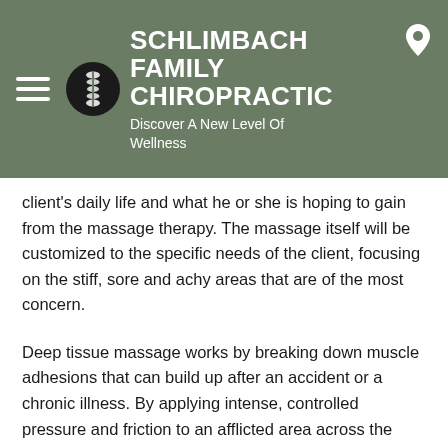SCHLIMBACH FAMILY CHIROPRACTIC
Discover A New Level Of Wellness
client's daily life and what he or she is hoping to gain from the massage therapy. The massage itself will be customized to the specific needs of the client, focusing on the stiff, sore and achy areas that are of the most concern.
Deep tissue massage works by breaking down muscle adhesions that can build up after an accident or a chronic illness. By applying intense, controlled pressure and friction to an afflicted area across the grain of the muscle, deep tissue massage relaxes rigid tissue and relieves the pain associated with stiff muscles, ligaments and tendons.
Deep tissue massage may cause some discomfort, and